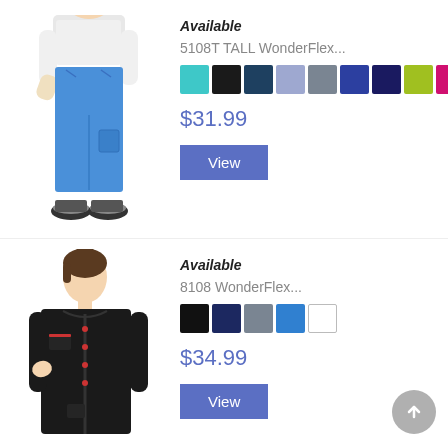[Figure (photo): Woman wearing blue medical scrub pants and a white top with sneakers]
Available
5108T TALL WonderFlex...
$31.99
View
[Figure (photo): Woman wearing black medical scrub jacket]
Available
8108 WonderFlex...
$34.99
View